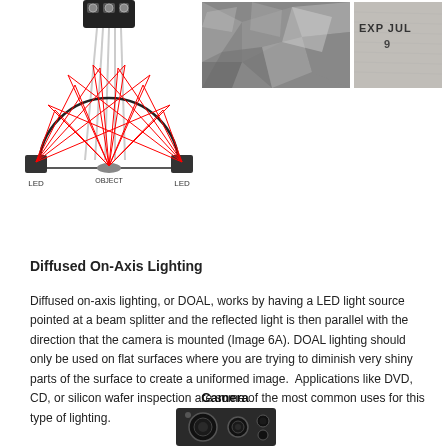[Figure (engineering-diagram): Diffuse dome lighting diagram showing LED sources on left and right with red light ray paths bouncing off a dome to illuminate an object at center bottom, with camera/sensor at top center. Labels: LED, OBJECT, LED.]
[Figure (photo): Black and white photograph of a highly reflective crumpled metallic surface showing specular reflections.]
[Figure (photo): Grayscale photo of a fabric surface with text 'EXP JUL' stamped or printed on it.]
Diffused On-Axis Lighting
Diffused on-axis lighting, or DOAL, works by having a LED light source pointed at a beam splitter and the reflected light is then parallel with the direction that the camera is mounted (Image 6A). DOAL lighting should only be used on flat surfaces where you are trying to diminish very shiny parts of the surface to create a uniformed image.  Applications like DVD, CD, or silicon wafer inspection are some of the most common uses for this type of lighting.
[Figure (engineering-diagram): Diagram of a camera (black box with lens circles) labeled 'Camera' at top, partially visible at bottom of page.]